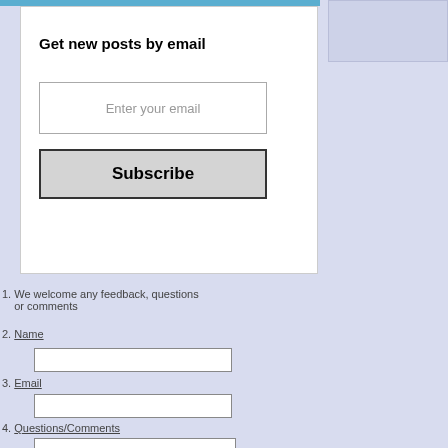Get new posts by email
[Figure (screenshot): Email subscription widget with text input field showing 'Enter your email' placeholder and a Subscribe button]
1. We welcome any feedback, questions or comments
2. Name
3. Email
4. Questions/Comments
5. Leave This Field Empty